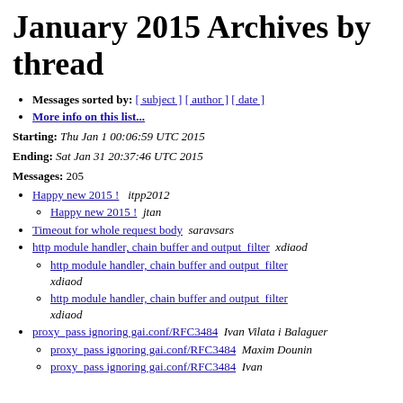January 2015 Archives by thread
Messages sorted by: [ subject ] [ author ] [ date ]
More info on this list...
Starting: Thu Jan 1 00:06:59 UTC 2015
Ending: Sat Jan 31 20:37:46 UTC 2015
Messages: 205
Happy new 2015 !   itpp2012
Happy new 2015 !   jtan
Timeout for whole request body   saravsars
http module handler, chain buffer and output_filter   xdiaod
http module handler, chain buffer and output_filter   xdiaod
http module handler, chain buffer and output_filter   xdiaod
proxy_pass ignoring gai.conf/RFC3484   Ivan Vilata i Balaguer
proxy_pass ignoring gai.conf/RFC3484   Maxim Dounin
proxy_pass ignoring gai.conf/RFC3484   Ivan...